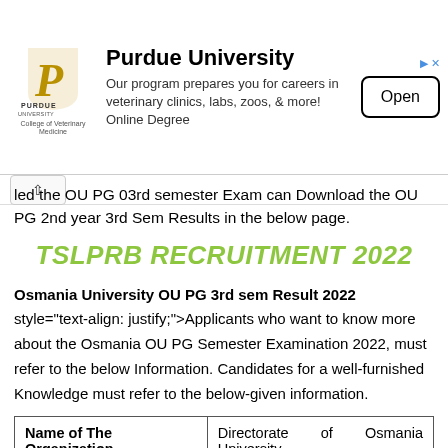[Figure (other): Purdue University advertisement banner with logo, description text about veterinary program, and Open button]
led the OU PG 03rd semester Exam can Download the OU PG 2nd year 3rd Sem Results in the below page.
TSLPRB RECRUITMENT 2022
Osmania University OU PG 3rd sem Result 2022 style="text-align: justify;">Applicants who want to know more about the Osmania OU PG Semester Examination 2022, must refer to the below Information. Candidates for a well-furnished Knowledge must refer to the below-given information.
| Name of The Organization | Directorate of Osmania University |
| Name of The Exam | OU PG Semester Examination |